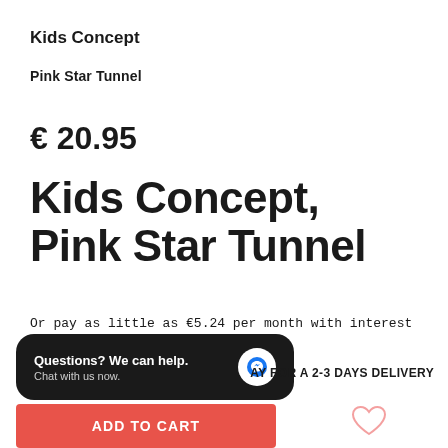Kids Concept
Pink Star Tunnel
€ 20.95
Kids Concept, Pink Star Tunnel
Or pay as little as €5.24 per month with interest free installments, with Splitit
✓ IN STOCK
AY FOR A 2-3 DAYS DELIVERY
Questions? We can help. Chat with us now.
ADD TO CART